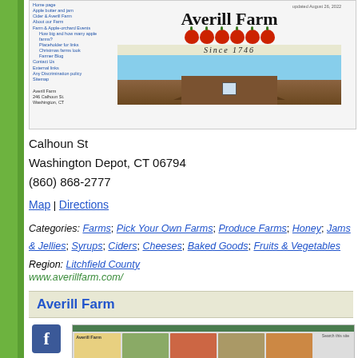[Figure (screenshot): Screenshot of Averill Farm website showing navigation sidebar, farm logo with apples and 'Since 1746' tagline, and a barn photograph]
Calhoun St
Washington Depot, CT 06794
(860) 868-2777
Map | Directions
Categories: Farms; Pick Your Own Farms; Produce Farms; Honey; Jams & Jellies; Syrups; Ciders; Cheeses; Baked Goods; Fruits & Vegetables
Region: Litchfield County
www.averillfarm.com/
Averill Farm
[Figure (screenshot): Facebook page preview for Averill Farm with thumbnail photos and Visit label]